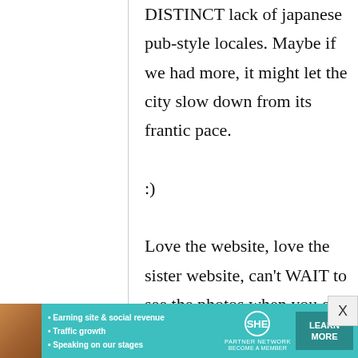DISTINCT lack of japanese pub-style locales. Maybe if we had more, it might let the city slow down from its frantic pace.

:)

Love the website, love the sister website, can't WAIT to see the photos when you go back to Japan.
[Figure (infographic): Advertisement banner for SHE Partner Network with woman's photo, bullet points about earning site & social revenue, traffic growth, speaking on stages, SHE logo, and a teal LEARN MORE button]